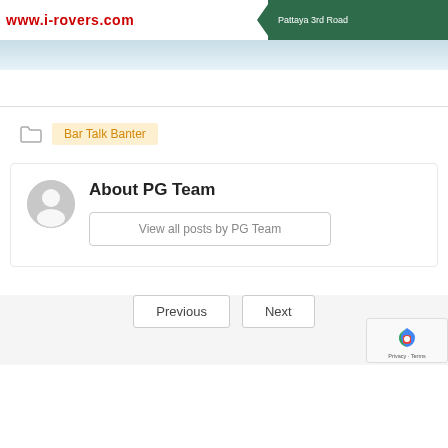[Figure (screenshot): Website header banner showing www.i-rovers.com in red text and a green road sign reading Pattaya 3rd Road]
[Figure (photo): Light blue gradient strip banner]
Bar Talk Banter
About PG Team
View all posts by PG Team
Previous
Next